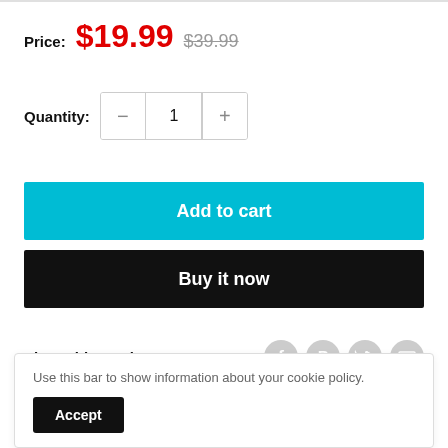Price: $19.99  $39.99
Quantity: 1
Add to cart
Buy it now
Share this product
Use this bar to show information about your cookie policy.
Accept